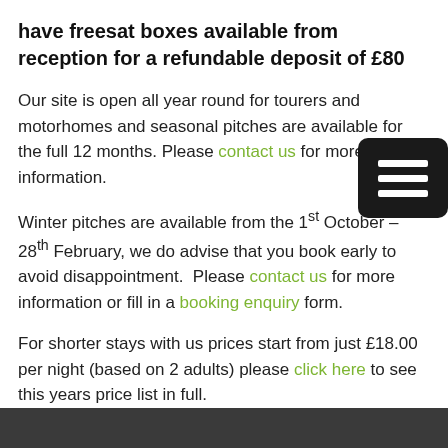have freesat boxes available from reception for a refundable deposit of £80
Our site is open all year round for tourers and motorhomes and seasonal pitches are available for the full 12 months. Please contact us for more information.
Winter pitches are available from the 1st October – 28th February, we do advise that you book early to avoid disappointment. Please contact us for more information or fill in a booking enquiry form.
For shorter stays with us prices start from just £18.00 per night (based on 2 adults) please click here to see this years price list in full.